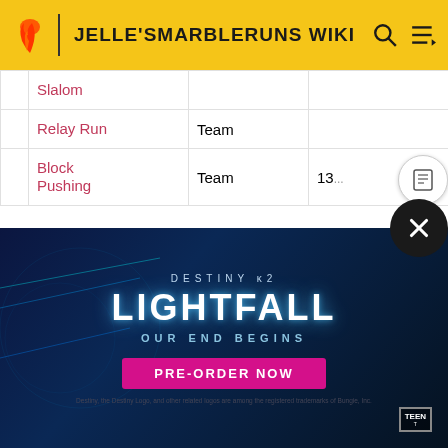JELLE'SMARBLERUNS WIKI
|  | Event | Type | Result |
| --- | --- | --- | --- |
|  | Slalom |  |  |
|  | Relay Run | Team |  |
|  | Block Pushing | Team | 13... |
|  | Hubelino Maze | Team | 4t... |
|  | Dirt Race | Individual | 7t... |
|  | Rafting | Team | 10... |
| 2020 |  |  | 7t... |
|  |  | Individual | 5t... |
|  | Endurance |  |  |
[Figure (other): Destiny 2 Lightfall advertisement - 'Our End Begins' with Pre-Order Now button]